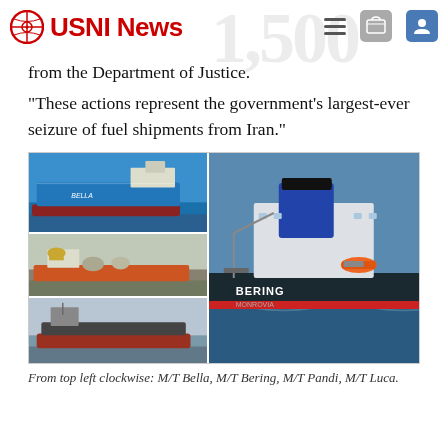USNI News
from the Department of Justice.
“These actions represent the government’s largest-ever seizure of fuel shipments from Iran.”
[Figure (photo): Four ship photographs: top left M/T Bella (blue hull tanker), middle left M/T Luca (tanker at dock), bottom left M/T Pandi (red-hulled tanker), and right large M/T Bering cargo vessel at sea with dark blue hull and white superstructure labeled BERING MONROVIA]
From top left clockwise: M/T Bella, M/T Bering, M/T Pandi, M/T Luca.